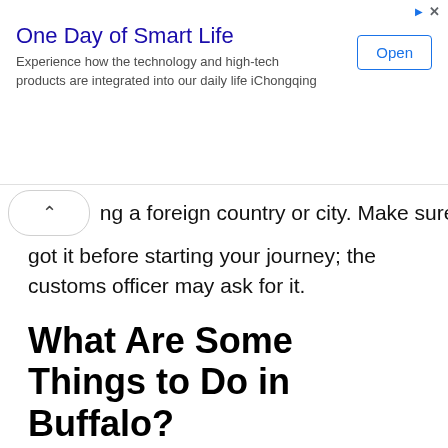[Figure (other): Advertisement banner for 'One Day of Smart Life' app. Title in blue reads 'One Day of Smart Life'. Description text: 'Experience how the technology and high-tech products are integrated into our daily life iChongqing'. Blue 'Open' button on right. Ad indicators (triangle and X) in top right corner.]
ng a foreign country or city. Make sure you got it before starting your journey; the customs officer may ask for it.
What Are Some Things to Do in Buffalo?
Buffalo is a city in upstate New York on the shores of Lake Erie. It is renowned for its graceful neoclassical, Bose Art and Art Deco buildings dating back to the early 20th century when the city was one of the largest industrial